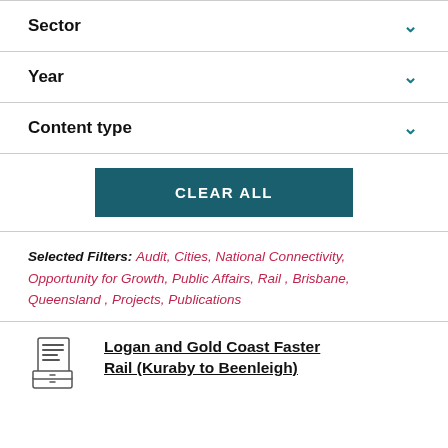Sector
Year
Content type
CLEAR ALL
Selected Filters: Audit, Cities, National Connectivity, Opportunity for Growth, Public Affairs, Rail , Brisbane, Queensland , Projects, Publications
Logan and Gold Coast Faster Rail (Kuraby to Beenleigh)